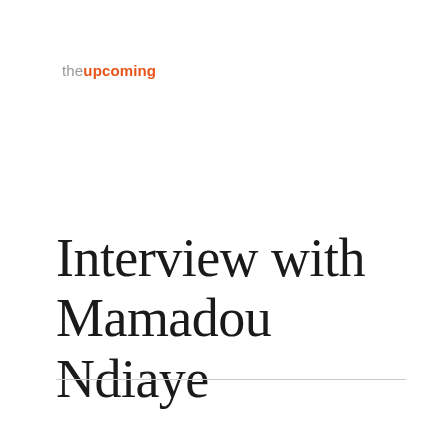theupcoming
Interview with Mamadou Ndiaye